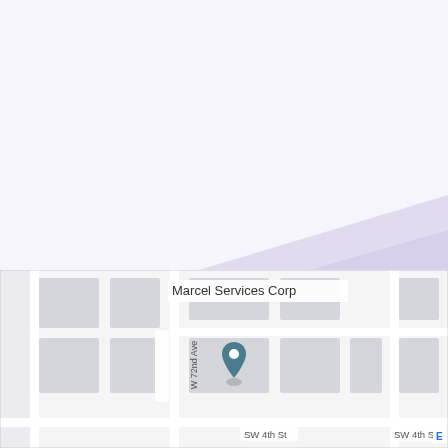[Figure (map): Background graphic with white upper area and lavender/purple diagonal lower area, suggesting a decorative page background or slide layout.]
[Figure (map): Embedded Google Maps-style street map showing Marcel Services Corp location at W 72nd Ave and SW 4th St, with a location pin marker.]